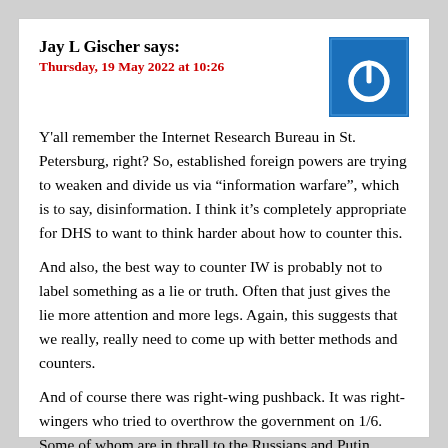Jay L Gischer says:
Thursday, 19 May 2022 at 10:26
Y'all remember the Internet Research Bureau in St. Petersburg, right? So, established foreign powers are trying to weaken and divide us via “information warfare”, which is to say, disinformation. I think it’s completely appropriate for DHS to want to think harder about how to counter this.
And also, the best way to counter IW is probably not to label something as a lie or truth. Often that just gives the lie more attention and more legs. Again, this suggests that we really, really need to come up with better methods and counters.
And of course there was right-wing pushback. It was right-wingers who tried to overthrow the government on 1/6. Some of whom are in thrall to the Russians and Putin, mostly because he hates gays.